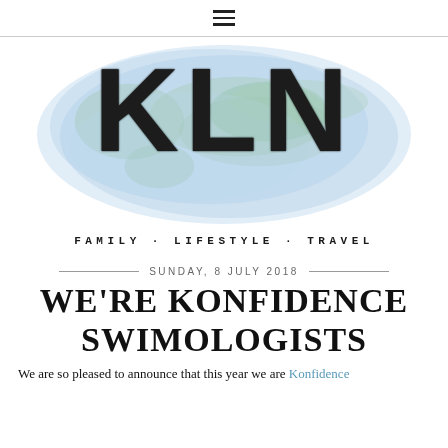☰ (hamburger menu icon)
[Figure (logo): KLN blog logo with watercolor world map background in light blue and green. Large bold black letters KLN overlaid on the map. Below the map: FAMILY · LIFESTYLE · TRAVEL in monospace font.]
SUNDAY, 8 JULY 2018
WE'RE KONFIDENCE SWIMOLOGISTS
We are so pleased to announce that this year we are Konfidence